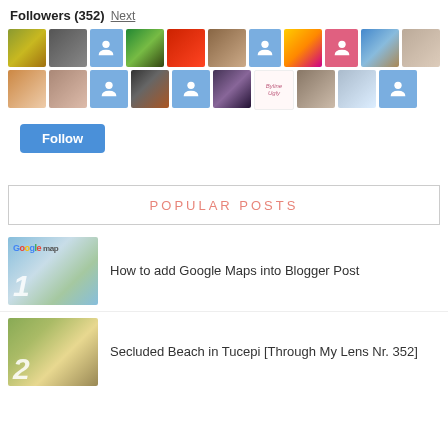Followers (352) Next
[Figure (illustration): Grid of 21 follower avatar thumbnails in two rows. Various profile photos and blue placeholder icons with person silhouettes, one pink placeholder, one spiral/mandala image, one script/text image.]
Follow (button)
POPULAR POSTS
[Figure (photo): Thumbnail of Google Maps post, showing google maps screenshot with water and land, large number 1 overlay]
How to add Google Maps into Blogger Post
[Figure (photo): Thumbnail of beach/palm tree scene with large number 2 overlay]
Secluded Beach in Tucepi [Through My Lens Nr. 352]